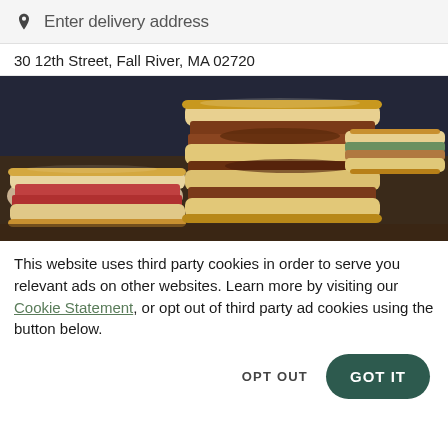Enter delivery address
30 12th Street, Fall River, MA 02720
[Figure (photo): A photograph of multiple stacked grilled sandwiches on a dark background, showing layers of meat, cheese, and vegetables between toasted bread slices.]
This website uses third party cookies in order to serve you relevant ads on other websites. Learn more by visiting our Cookie Statement, or opt out of third party ad cookies using the button below.
OPT OUT
GOT IT